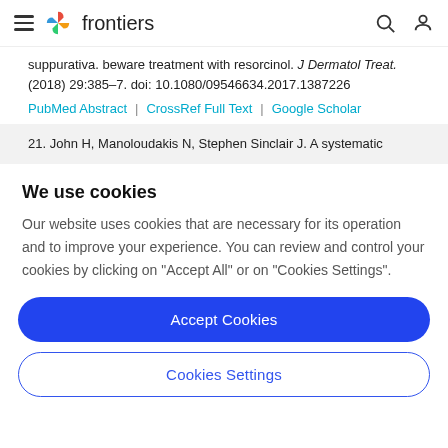frontiers
suppurativa. beware treatment with resorcinol. J Dermatol Treat. (2018) 29:385–7. doi: 10.1080/09546634.2017.1387226
PubMed Abstract | CrossRef Full Text | Google Scholar
21. John H, Manoloudakis N, Stephen Sinclair J. A systematic
We use cookies
Our website uses cookies that are necessary for its operation and to improve your experience. You can review and control your cookies by clicking on "Accept All" or on "Cookies Settings".
Accept Cookies
Cookies Settings